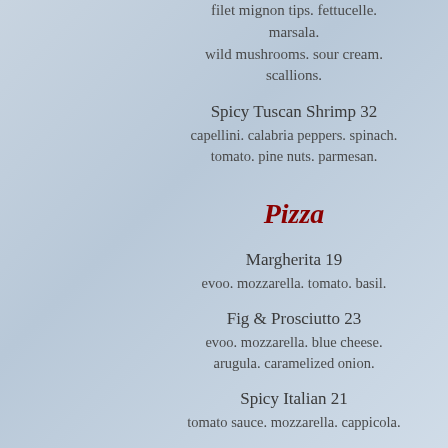filet mignon tips. fettucelle. marsala. wild mushrooms. sour cream. scallions.
Spicy Tuscan Shrimp 32
capellini. calabria peppers. spinach. tomato. pine nuts. parmesan.
Pizza
Margherita 19
evoo. mozzarella. tomato. basil.
Fig & Prosciutto 23
evoo. mozzarella. blue cheese. arugula. caramelized onion.
Spicy Italian 21
tomato sauce. mozzarella. cappicola.